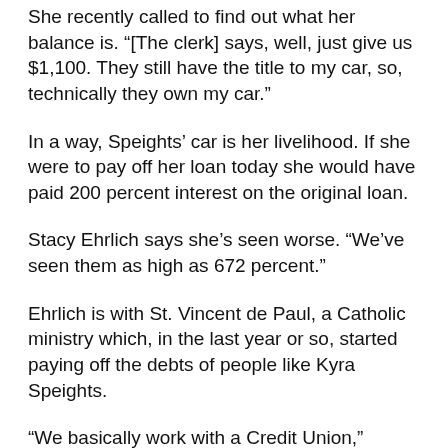She recently called to find out what her balance is. “[The clerk] says, well, just give us $1,100. They still have the title to my car, so, technically they own my car.”
In a way, Speights’ car is her livelihood. If she were to pay off her loan today she would have paid 200 percent interest on the original loan.
Stacy Ehrlich says she’s seen worse. “We’ve seen them as high as 672 percent.”
Ehrlich is with St. Vincent de Paul, a Catholic ministry which, in the last year or so, started paying off the debts of people like Kyra Speights.
“We basically work with a Credit Union,” Ehrlich says. “We collateralize and co-guarantee the